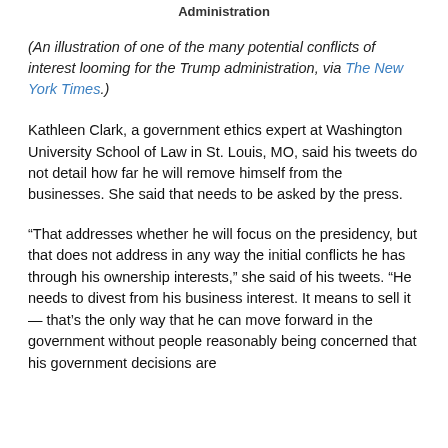Administration
(An illustration of one of the many potential conflicts of interest looming for the Trump administration, via The New York Times.)
Kathleen Clark, a government ethics expert at Washington University School of Law in St. Louis, MO, said his tweets do not detail how far he will remove himself from the businesses. She said that needs to be asked by the press.
“That addresses whether he will focus on the presidency, but that does not address in any way the initial conflicts he has through his ownership interests,” she said of his tweets. “He needs to divest from his business interest. It means to sell it — that’s the only way that he can move forward in the government without people reasonably being concerned that his government decisions are